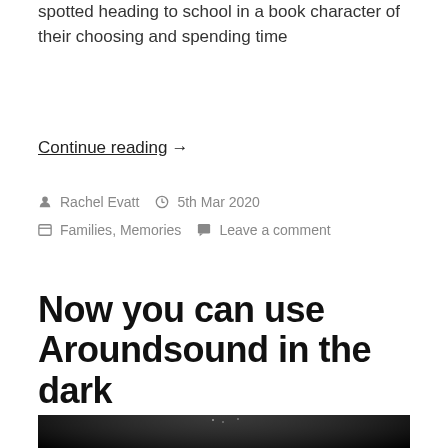spotted heading to school in a book character of their choosing and spending time
Continue reading →
By Rachel Evatt  5th Mar 2020
Families, Memories  Leave a comment
Now you can use Aroundsound in the dark
[Figure (photo): Dark background photo showing a silhouetted figure, possibly a person viewed from behind, in near-total darkness with a faint light source above.]